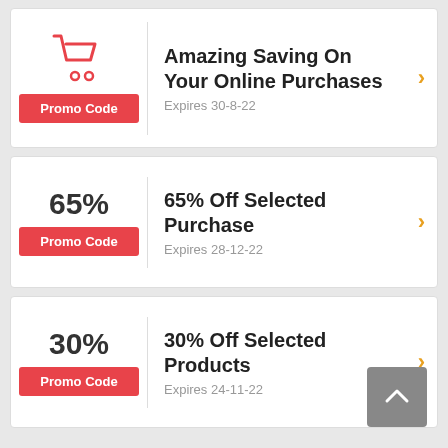[Figure (illustration): Red shopping cart icon above a red Promo Code button]
Amazing Saving On Your Online Purchases
Expires 30-8-22
65%
[Figure (illustration): Red Promo Code button]
65% Off Selected Purchase
Expires 28-12-22
30%
[Figure (illustration): Red Promo Code button]
30% Off Selected Products
Expires 24-11-22